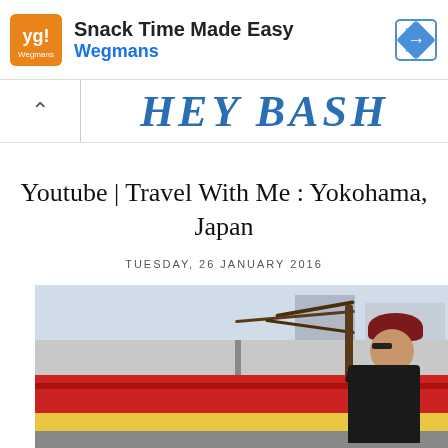[Figure (other): Advertisement banner: Wegmans 'Snack Time Made Easy' ad with orange logo, navigation arrow icon]
HEY BASH
Youtube | Travel With Me : Yokohama, Japan
TUESDAY, 26 JANUARY 2016
[Figure (photo): Person wearing dark red beanie and black leather jacket standing near a bare tree with red fencing and city buildings in background, Yokohama Japan]